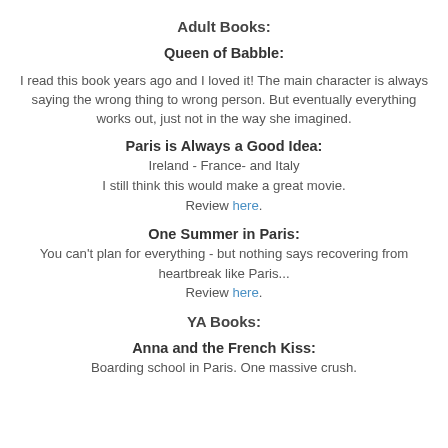Adult Books:
Queen of Babble:
I read this book years ago and I loved it! The main character is always saying the wrong thing to wrong person. But eventually everything works out, just not in the way she imagined.
Paris is Always a Good Idea:
Ireland - France- and Italy
I still think this would make a great movie.
Review here.
One Summer in Paris:
You can't plan for everything - but nothing says recovering from heartbreak like Paris...
Review here.
YA Books:
Anna and the French Kiss:
Boarding school in Paris. One massive crush.